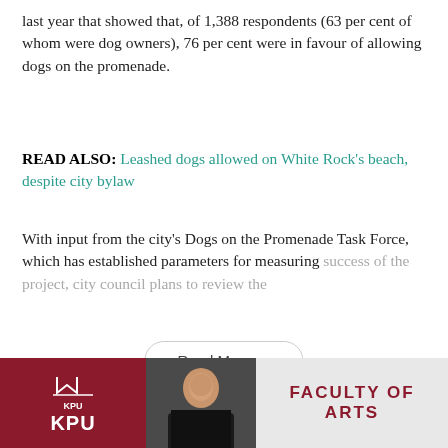last year that showed that, of 1,388 respondents (63 per cent of whom were dog owners), 76 per cent were in favour of allowing dogs on the promenade.
READ ALSO: Leashed dogs allowed on White Rock's beach, despite city bylaw
With input from the city's Dogs on the Promenade Task Force, which has established parameters for measuring success of the project, city council plans to review the
Read More
Previous story
Next story
[Figure (other): KPU Faculty of Arts advertisement banner with logo and person photo]